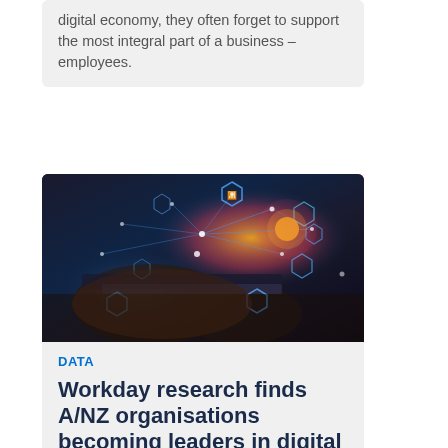digital economy, they often forget to support the most integral part of a business – employees.
[Figure (photo): Person typing on a laptop with digital technology overlay showing connected hexagonal icons and glowing network lines]
DATA
Workday research finds A/NZ organisations becoming leaders in digital agility
New research from Workday and IDC